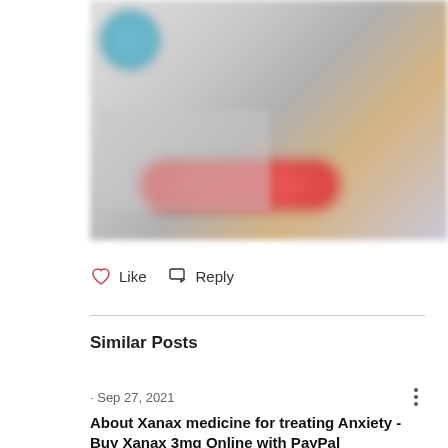[Figure (photo): Blurred/redacted image of a product or web page, showing a teal circular element top-left, text content in the center-left (blurred), a golden/brown section on the right, and a red rounded button element at the bottom center.]
Like   Reply
Similar Posts
· Sep 27, 2021
About Xanax medicine for treating Anxiety - Buy Xanax 3mg Online with PayPal